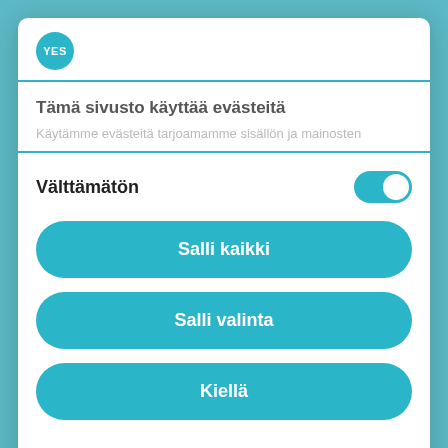[Figure (logo): YES globe logo in teal circle]
Tämä sivusto käyttää evästeitä
Käytämme evästeitä tarjoamamme sisällön ja mainosten
Välttämätön
Salli kaikki
Salli valinta
Kiellä
Powered by Cookiebot by Usercentrics